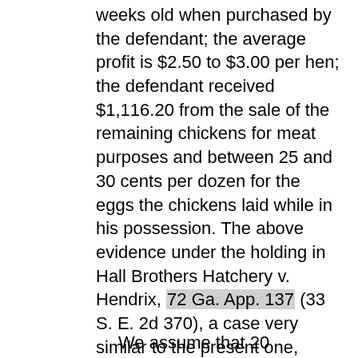weeks old when purchased by the defendant; the average profit is $2.50 to $3.00 per hen; the defendant received $1,116.20 from the sale of the remaining chickens for meat purposes and between 25 and 30 cents per dozen for the eggs the chickens laid while in his possession. The above evidence under the holding in Hall Brothers Hatchery v. Hendrix, 72 Ga. App. 137 (33 S. E. 2d 370), a case very similar to the present one, authorized a recovery of special damages for the loss of profit over the full productive life of the chickens, less that percent that normally die or are culled.
We assume that 20